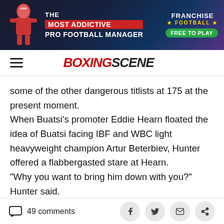[Figure (illustration): Advertisement banner for Franchise Football game: 'THE MOST ADDICTIVE PRO FOOTBALL MANAGER FREE TO PLAY' with a football player graphic and Franchise Football logo]
BOXINGSCENE (navigation bar with hamburger menu and site logo)
some of the other dangerous titlists at 175 at the present moment.
When Buatsi’s promoter Eddie Hearn floated the idea of Buatsi facing IBF and WBC light heavyweight champion Artur Beterbiev, Hunter offered a flabbergasted stare at Hearn.
“Why you want to bring him down with you?” Hunter said.
49 comments | social share buttons (Facebook, Twitter, Email, Share)